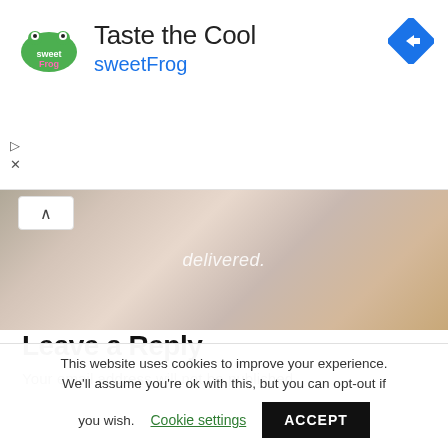[Figure (screenshot): SweetFrog advertisement banner with logo, 'Taste the Cool' headline, 'sweetFrog' subtitle in teal, and a blue diamond navigation arrow icon on the right.]
[Figure (photo): Hero image showing close-up of food/dessert items with italic white text overlay reading 'delivered.']
Leave a Reply
Your email address will not be published.
This website uses cookies to improve your experience. We'll assume you're ok with this, but you can opt-out if you wish. Cookie settings  ACCEPT